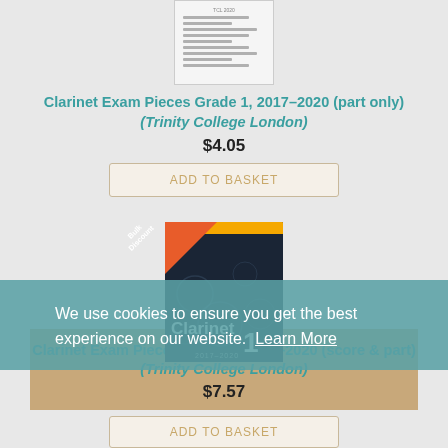[Figure (illustration): Small book thumbnail of Clarinet Exam Pieces part only, showing lines of text on white background]
Clarinet Exam Pieces Grade 1, 2017–2020 (part only) (Trinity College London)
$4.05
ADD TO BASKET
[Figure (illustration): Book cover of Clarinet 1 2017-2020 score and part, with orange/yellow header, dark blue background with musical imagery, and Bulk Discount ribbon in top-left corner]
We use cookies to ensure you get the best experience on our website.  Learn More
Clarinet Exam Pieces Grade 1, 2017–2020 (score & part) (Trinity College London)
$7.57
ADD TO BASKET